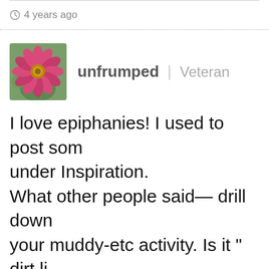4 years ago
unfrumped | Veteran
I love epiphanies! I used to post som under Inspiration. What other people said— drill down your muddy-etc activity. Is it " dirt li Then a washable fun sneaker that is